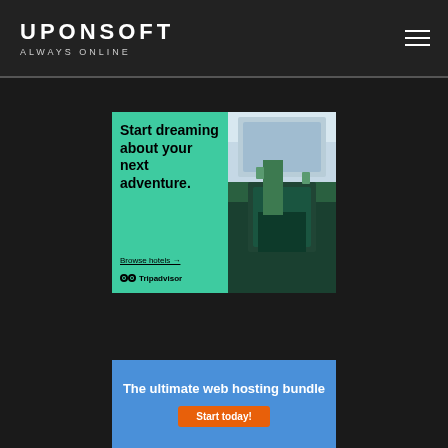UPONSOFT — ALWAYS ONLINE
[Figure (infographic): Tripadvisor advertisement banner with green background. Left side shows bold black text 'Start dreaming about your next adventure.' with underlined link 'Browse hotels →' and Tripadvisor logo at bottom. Right side shows a photo of a hotel courtyard with a pool.]
[Figure (infographic): Web hosting advertisement with blue background showing text 'The ultimate web hosting bundle' and an orange 'Start today!' button.]